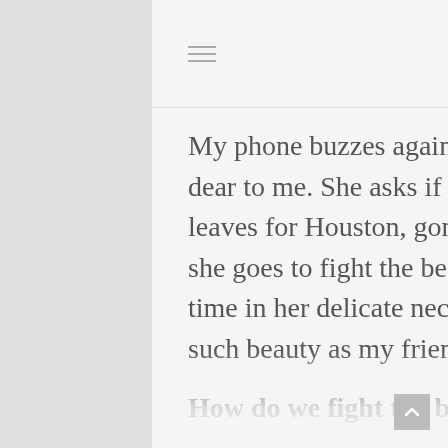≡  f  🐦  ⊙  p  ↝
My phone buzzes again, a text from another heart friend, so so dear to me. She asks if we can meet Friday morning before she leaves for Houston, gone for at least 3 weeks. This is the place she goes to fight the beast that has shown up for the second time in her delicate neck. How can something so ugly invade such beauty as my friend?
How do we fight the beast?
And then the children.
I remember my brave Lottie Mae, we lost hair together and were on the same schedule of growing it back, the